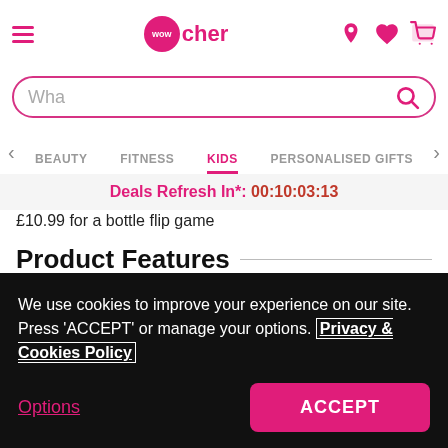Wowcher navigation header with hamburger menu, logo, location, wishlist, and cart icons
Wha (search bar)
BEAUTY | FITNESS | KIDS (active) | PERSONALISED GIFTS
Deals Refresh In*: 00:10:03:13
£10.99 for a bottle flip game
Product Features
Bottle flip game: Get your hands on a bottle flip game.
Challenging: A range of different challenges to complete! Can you land the flips?
Players: Ideal for two to six players, suitable for ages seven and
We use cookies to improve your experience on our site.
Press 'ACCEPT' or manage your options. Privacy & Cookies Policy
Options | ACCEPT